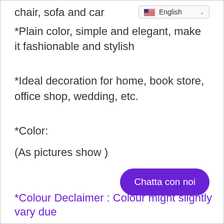chair, sofa and car
[Figure (screenshot): English language selector dropdown with US flag]
*Plain color, simple and elegant, make it fashionable and stylish
*Ideal decoration for home, book store, office shop, wedding, etc.
*Color:
(As pictures show )
[Figure (other): Purple rounded button with text 'Chatta con noi']
*Colour Declaimer : Colour might slightly vary due